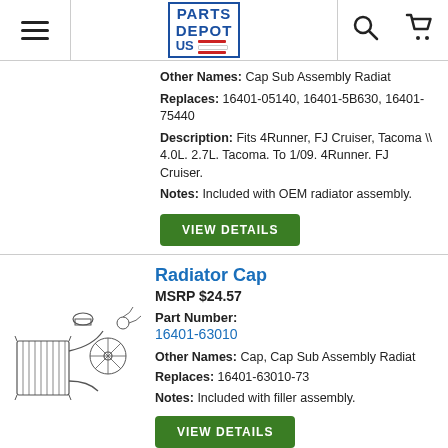Parts Depot US
Other Names: Cap Sub Assembly Radiat
Replaces: 16401-05140, 16401-5B630, 16401-75440
Description: Fits 4Runner, FJ Cruiser, Tacoma \ \ 4.0L. 2.7L. Tacoma. To 1/09. 4Runner. FJ Cruiser.
Notes: Included with OEM radiator assembly.
VIEW DETAILS
Radiator Cap
MSRP $24.57
Part Number:
16401-63010
Other Names: Cap, Cap Sub Assembly Radiat
Replaces: 16401-63010-73
Notes: Included with filler assembly.
VIEW DETAILS
Radiator Cap